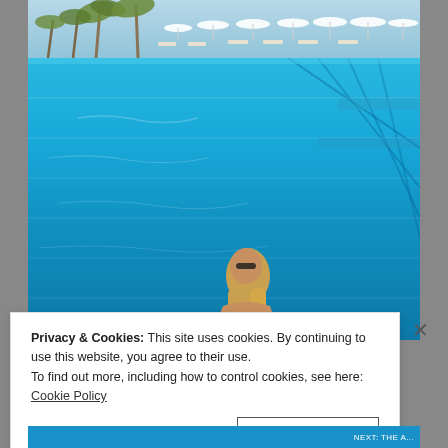[Figure (photo): Aerial-perspective photo of a large luxury resort infinity pool with vivid turquoise blue water. Palm trees and white beach umbrella loungers visible in the background. A blonde woman wearing sunglasses sits at the pool edge in the foreground, seen from behind.]
Privacy & Cookies: This site uses cookies. By continuing to use this website, you agree to their use.
To find out more, including how to control cookies, see here: Cookie Policy
Close and accept